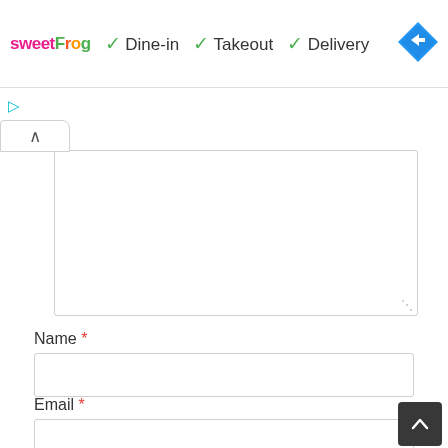[Figure (logo): sweetFrog logo with colorful letters]
✓ Dine-in  ✓ Takeout  ✓ Delivery
[Figure (other): Blue diamond navigation/directions icon]
Name *
Email *